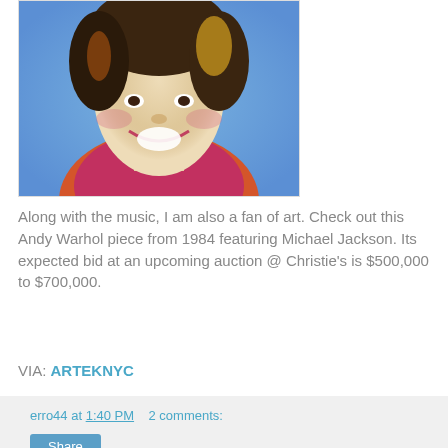[Figure (illustration): Andy Warhol pop-art portrait of Michael Jackson, 1984, with bright blue background and colorful orange/red clothing]
Along with the music, I am also a fan of art. Check out this Andy Warhol piece from 1984 featuring Michael Jackson. Its expected bid at an upcoming auction @ Christie's is $500,000 to $700,000.
VIA: ARTEKNYC
erro44 at 1:40 PM    2 comments:
CHINAH BLAC'S NEW VIDEO "GET AWAY"